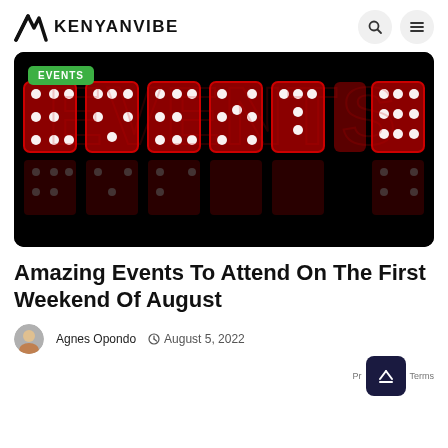KENYANVIBE
[Figure (photo): Dark background with large illuminated red marquee letters spelling EVENTS with bright bulb lights, with a reflection of the letters below. A green badge reading EVENTS appears in the top left corner.]
Amazing Events To Attend On The First Weekend Of August
Agnes Opondo  August 5, 2022